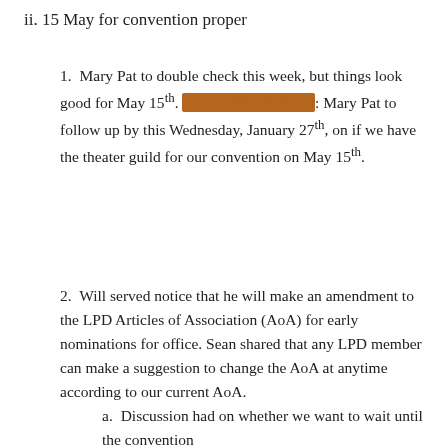ii. 15 May for convention proper
1. Mary Pat to double check this week, but things look good for May 15th. ACTION ITEM ##: Mary Pat to follow up by this Wednesday, January 27th, on if we have the theater guild for our convention on May 15th.
2. Will served notice that he will make an amendment to the LPD Articles of Association (AoA) for early nominations for office. Sean shared that any LPD member can make a suggestion to change the AoA at anytime according to our current AoA.
a. Discussion had on whether we want to wait until the convention